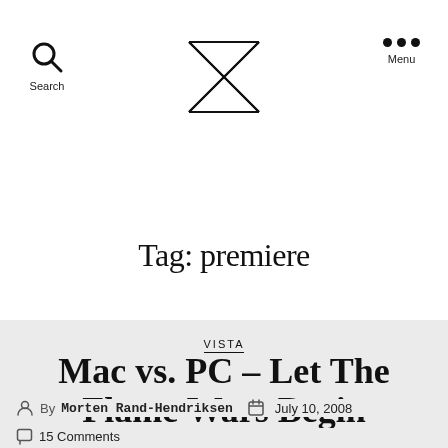Search | [Logo] | Menu
Tag: premiere
VISTA
Mac vs. PC – Let The Flame Wars Begin
By Morten Rand-Hendriksen  July 10, 2008
15 Comments